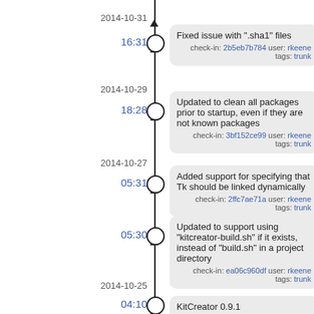2014-10-31
16:31
Fixed issue with ".sha1" files
check-in: 2b5eb7b784 user: rkeene tags: trunk
2014-10-29
18:28
Updated to clean all packages prior to startup, even if they are not known packages
check-in: 3bf152ce99 user: rkeene tags: trunk
2014-10-27
05:31
Added support for specifying that Tk should be linked dynamically
check-in: 2ffc7ae71a user: rkeene tags: trunk
05:30
Updated to support using "kitcreator-build.sh" if it exists, instead of "build.sh" in a project directory
check-in: ea06c960df user: rkeene tags: trunk
2014-10-25
04:10
KitCreator 0.9.1